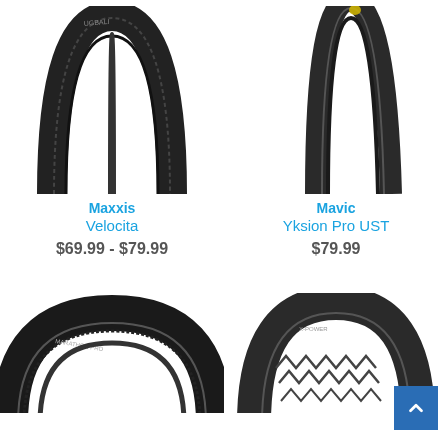[Figure (photo): Maxxis Velocita road bicycle tire shown folded in a vertical arch, dark background tire with tread pattern visible]
Maxxis
Velocita
$69.99 - $79.99
[Figure (photo): Mavic Yksion Pro UST road bicycle tire shown in a slender vertical arch, dark tire with yellow accent near bead]
Mavic
Yksion Pro UST
$79.99
[Figure (photo): Bottom-left bicycle tire shown partially, wide tire with visible tread, cut off at bottom of page]
[Figure (photo): Bottom-right bicycle tire shown partially in an arch with zigzag tread pattern, cut off at bottom of page]